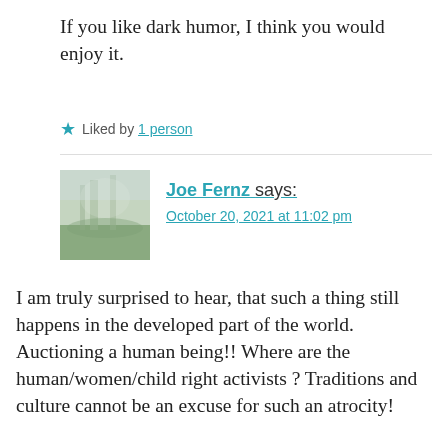If you like dark humor, I think you would enjoy it.
★ Liked by 1 person
Joe Fernz says:
October 20, 2021 at 11:02 pm
I am truly surprised to hear, that such a thing still happens in the developed part of the world. Auctioning a human being!! Where are the human/women/child right activists ? Traditions and culture cannot be an excuse for such an atrocity!